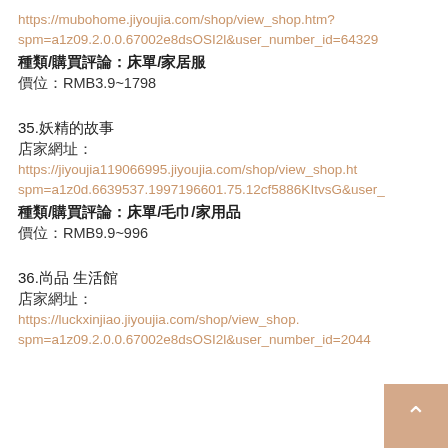https://mubohome.jiyoujia.com/shop/view_shop.htm?spm=a1z09.2.0.0.67002e8dsOSI2l&user_number_id=6432...
種類/購買評論：床單/家居服
價位：RMB3.9~1798
35.妖精的故事
店家網址：
https://jiyoujia119066995.jiyoujia.com/shop/view_shop.ht...spm=a1z0d.6639537.1997196601.75.12cf5886KItvsG&user_...
種類/購買評論：床單/毛巾/家用品
價位：RMB9.9~996
36.尚品 生活館
店家網址：
https://luckxinjiao.jiyoujia.com/shop/view_shop....spm=a1z09.2.0.0.67002e8dsOSI2l&user_number_id=2044...